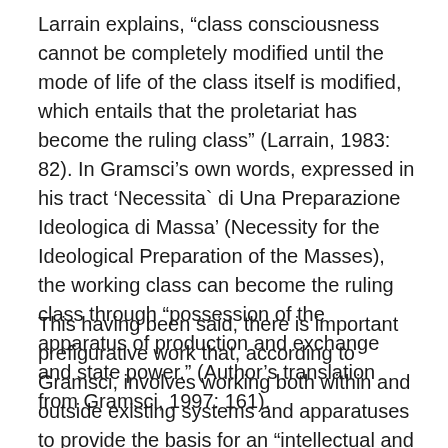Larrain explains, “class consciousness cannot be completely modified until the mode of life of the class itself is modified, which entails that the proletariat has become the ruling class” (Larrain, 1983: 82). In Gramsci’s own words, expressed in his tract ‘Necessita` di Una Preparazione Ideologica di Massa’ (Necessity for the Ideological Preparation of the Masses), the working class can become the ruling class through “possession of the apparatus of production and exchange and state power.” (Author’s translation from Gramsci, 1997: 161).
This having been said, there is important prefigurative work that, according to Gramsci, involves working both within and outside existing systems and apparatuses to provide the basis for an “intellectual and moral reform” (Gramsci, 1971: 132). This work occurs primarily in the context of social relations which, according to Gramsci,